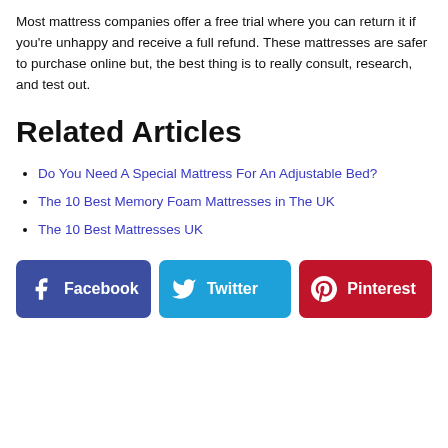Most mattress companies offer a free trial where you can return it if you're unhappy and receive a full refund. These mattresses are safer to purchase online but, the best thing is to really consult, research, and test out.
Related Articles
Do You Need A Special Mattress For An Adjustable Bed?
The 10 Best Memory Foam Mattresses in The UK
The 10 Best Mattresses UK
[Figure (infographic): Three social sharing buttons: Facebook (dark blue), Twitter (light blue), Pinterest (dark red), each with icon and label.]